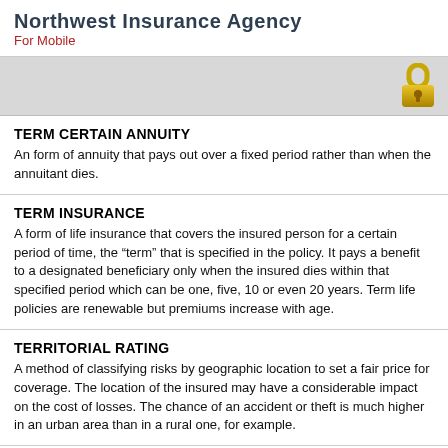Northwest Insurance Agency
For Mobile
TERM CERTAIN ANNUITY
An form of annuity that pays out over a fixed period rather than when the annuitant dies.
TERM INSURANCE
A form of life insurance that covers the insured person for a certain period of time, the “term” that is specified in the policy. It pays a benefit to a designated beneficiary only when the insured dies within that specified period which can be one, five, 10 or even 20 years. Term life policies are renewable but premiums increase with age.
TERRITORIAL RATING
A method of classifying risks by geographic location to set a fair price for coverage. The location of the insured may have a considerable impact on the cost of losses. The chance of an accident or theft is much higher in an urban area than in a rural one, for example.
TERRORISM COVERAGE
Included as a part of the package in standard commercial insurance policies before September 11, 2001 virtually free of charge. Since September 11, terrorism coverage prices have increased substantially to reflect the current risk.